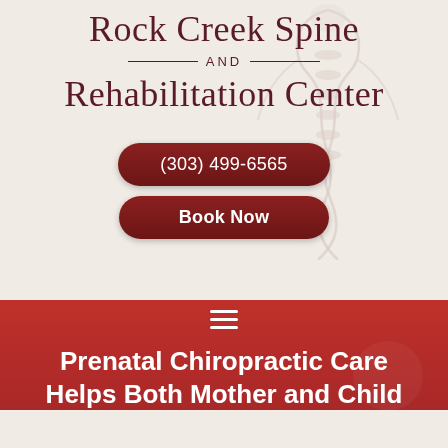[Figure (logo): Rock Creek Spine AND Rehabilitation Center logo with spine/human figure illustration]
(303) 499-6565
Book Now
Prenatal Chiropractic Care Helps Both Mother and Child